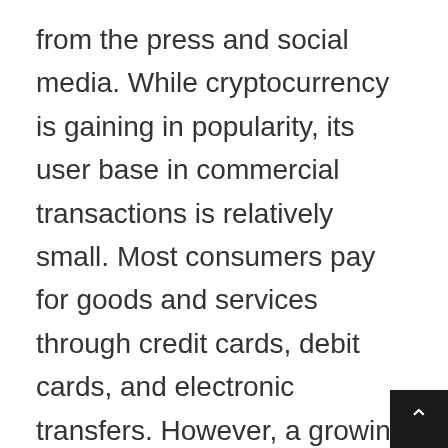from the press and social media. While cryptocurrency is gaining in popularity, its user base in commercial transactions is relatively small. Most consumers pay for goods and services through credit cards, debit cards, and electronic transfers. However, a growing number of businesses are adopting virtual currency as a method of payment. Although a number of businesses have jumped on the cryptocurrency bandwagon, there are a number of reporting requirements and other procedures that a business must understand before accepting cryptocurrency as a form of payment. This article examines the potential